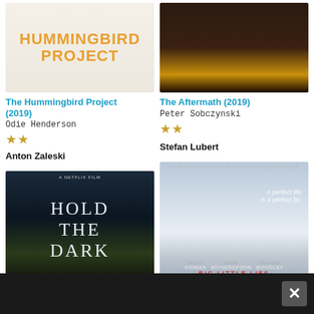[Figure (photo): Movie poster for The Hummingbird Project (2019) - orange text on light beige background]
[Figure (photo): Movie poster for The Aftermath (2019) - woman in gold dress, dark tones]
The Hummingbird Project (2019)
Odie Henderson
★★
Anton Zaleski
The Aftermath (2019)
Peter Sobczynski
★★
Stefan Lubert
[Figure (photo): Movie poster for Hold the Dark (Netflix) - dark blue tones, forest, man in snow]
[Figure (photo): Movie poster for Big Little Lies - sky background, Nicole Kidman, Reese Witherspoon, Shailene Woodley]